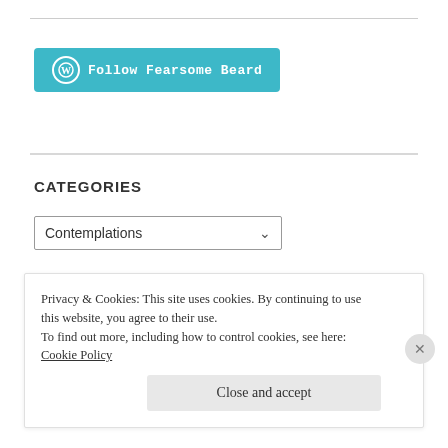[Figure (other): WordPress Follow button with teal background reading 'Follow Fearsome Beard']
CATEGORIES
[Figure (other): Dropdown select box showing 'Contemplations' with a chevron arrow]
RECENT POSTS
Beard of the day
Privacy & Cookies: This site uses cookies. By continuing to use this website, you agree to their use.
To find out more, including how to control cookies, see here: Cookie Policy
Close and accept